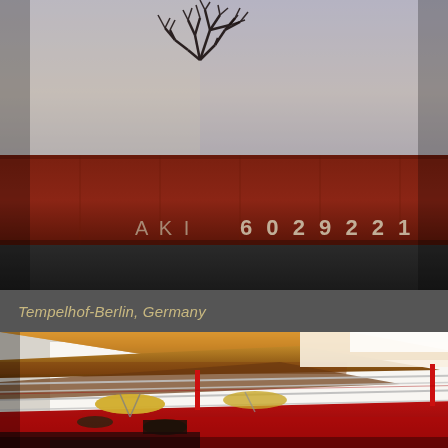[Figure (photo): Outdoor dusk photo showing bare tree branches silhouetted against a pale sky, with a dark red/brown shipping container or structure below bearing partial numbers '60 29 22'. The scene has a twilight atmosphere with muted colors.]
Tempelhof-Berlin, Germany
[Figure (photo): Interior photo of a venue featuring a boxing ring with red ropes and red canvas, drum kit with cymbals on the boxing ring platform, wooden exposed beam ceiling with warm amber lighting, white walls, and a red punching bag hanging on the right side. The space appears to be a converted gymnasium or creative event space.]